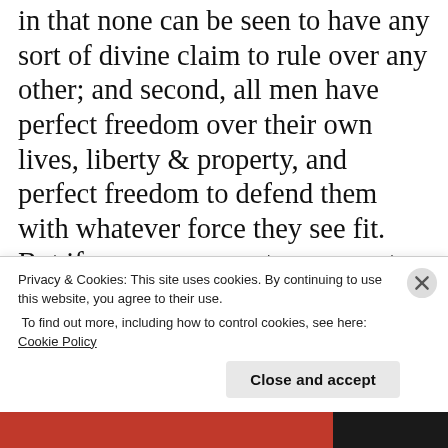in that none can be seen to have any sort of divine claim to rule over any other; and second, all men have perfect freedom over their own lives, liberty & property, and perfect freedom to defend them with whatever force they see fit.  But if everyone were to carry out justice on their own, the resulting chaos would be intolerable.  So to live in peace, men form a social compact with one another, in which they surrender to whole, in the form of government, the right to judge & punish transgressions against
Privacy & Cookies: This site uses cookies. By continuing to use this website, you agree to their use.
To find out more, including how to control cookies, see here: Cookie Policy
Close and accept